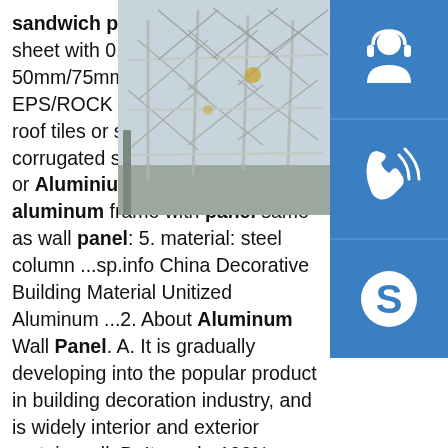sandwich panel or color steel sheet with 0.3mm~0.5mm: 2.Roof: 50mm/75mm /100mm thick EPS/ROCK WOOL/PU corrugated roof tiles or single color steel corrugated sheet: 3.Window: PVC or Aluminium sliding window: 4.D aluminum frame with panel same as wall panel: 5. material: steel column ...sp.info China Decorative Building Material Unitized Aluminum ...2. About Aluminum Wall Panel. A. It is gradually developing into the popular product in building decoration industry, and is widely interior and exterior curtain wall. B. It can be100% recycled, environmentally, unlike glass, stone, ceramics, aluminum composite panel …sp.info China Stainless Steel Telescopic Ladder Manufacturers ...Find professional stainless steel telescopic ladder manufacturers and suppliers in China here. We warmly welcome you to buy or wholesale high quality stainless steel telescopic ladder
[Figure (photo): Photo of a steel construction framework/scaffolding structure outdoors]